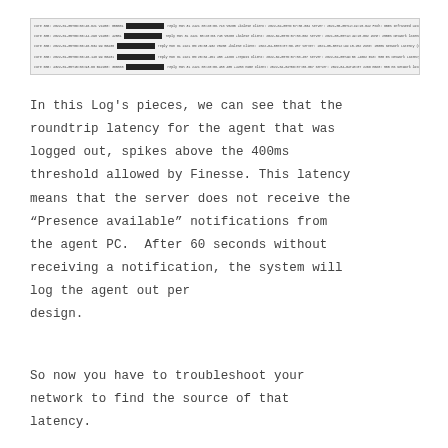[Figure (screenshot): Log file screenshot showing multiple rows of log entries with timestamps, client/server info, and network latency data. One row is highlighted in yellow indicating high latency exceeding 400ms threshold.]
In this Log's pieces, we can see that the roundtrip latency for the agent that was logged out, spikes above the 400ms threshold allowed by Finesse. This latency means that the server does not receive the “Presence available” notifications from the agent PC.  After 60 seconds without receiving a notification, the system will log the agent out per design.
So now you have to troubleshoot your network to find the source of that latency.